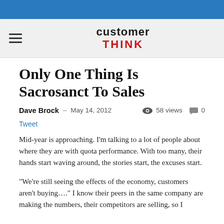customerTHINK
Only One Thing Is Sacrosanct To Sales
Dave Brock  –  May 14, 2012    58 views    0
Tweet
Mid-year is approaching. I'm talking to a lot of people about where they are with quota performance. With too many, their hands start waving around, the stories start, the excuses start.
“We’re still seeing the effects of the economy, customers aren’t buying….” I know their peers in the same company are making the numbers, their competitors are selling, so I